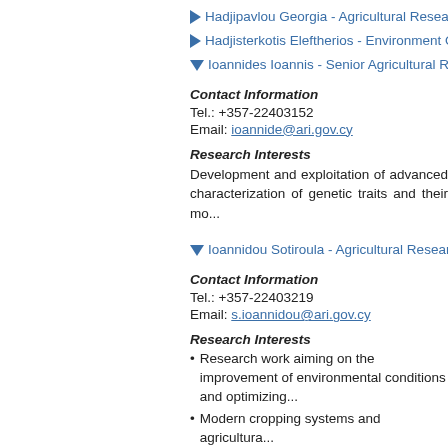Hadjipavlou Georgia - Agricultural Research...
Hadjisterkotis Eleftherios - Environment O...
Ioannides Ioannis - Senior Agricultural Res...
Contact Information
Tel.: +357-22403152
Email: ioannide@ari.gov.cy
Research Interests
Development and exploitation of advanced characterization of genetic traits and their mo...
Ioannidou Sotiroula - Agricultural Research...
Contact Information
Tel.: +357-22403219
Email: s.ioannidou@ari.gov.cy
Research Interests
Research work aiming on the improvement of environmental conditions and optimizing...
Modern cropping systems and agricultura...
Evaluation of Cherry Varieties (Prunus a...